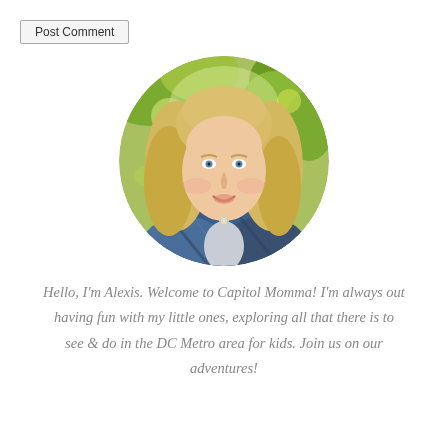[Figure (other): A 'Post Comment' button element, styled as a browser form button with border]
[Figure (photo): Circular portrait photo of a smiling blonde woman (Alexis) outdoors with green foliage in the background, wearing a blue plaid shirt]
Hello, I'm Alexis. Welcome to Capitol Momma! I'm always out having fun with my little ones, exploring all that there is to see & do in the DC Metro area for kids. Join us on our adventures!